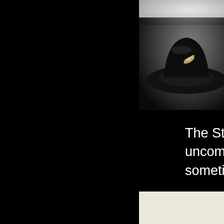[Figure (photo): Close-up photo of what appears to be a hat or cap with a metal pin/badge, shown against a dark background. The photo occupies the top-right corner of the page.]
The Stetso uncommon sometimes
The two ha helmets, yo large hats w were more
[Figure (photo): Bottom portion of a photo showing a light-colored background, occupying the bottom-right corner of the page.]